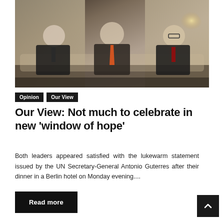[Figure (photo): Three men in dark suits sitting on a sofa in a hotel setting. The man in the center wears an orange tie, the man on the left wears a dark tie, and the man on the right wears a red tie. Curtains and a lamp are visible in the background.]
Opinion   Our View
Our View: Not much to celebrate in new 'window of hope'
Both leaders appeared satisfied with the lukewarm statement issued by the UN Secretary-General Antonio Guterres after their dinner in a Berlin hotel on Monday evening....
Read more